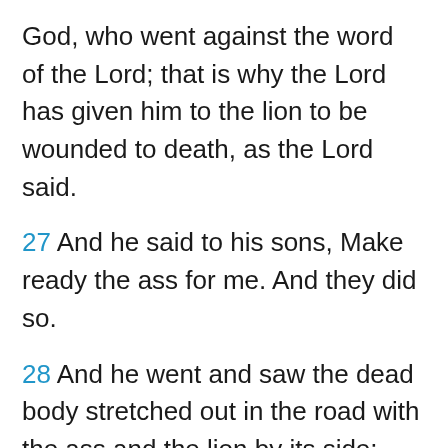God, who went against the word of the Lord; that is why the Lord has given him to the lion to be wounded to death, as the Lord said.
27 And he said to his sons, Make ready the ass for me. And they did so.
28 And he went and saw the dead body stretched out in the road with the ass and the lion by its side: the lion had not taken the body for its food or done any damage to the ass.
29 Then the prophet took up the body of the man of God and put it on the ass and took it